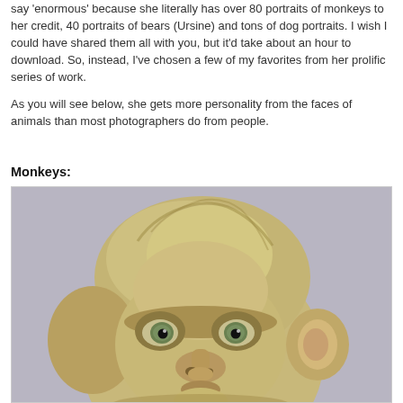say 'enormous' because she literally has over 80 portraits of monkeys to her credit, 40 portraits of bears (Ursine) and tons of dog portraits. I wish I could have shared them all with you, but it'd take about an hour to download. So, instead, I've chosen a few of my favorites from her prolific series of work.

As you will see below, she gets more personality from the faces of animals than most photographers do from people.
Monkeys:
[Figure (photo): Close-up portrait photograph of a monkey (macaque) with greenish eyes looking upward, light tan/golden fur, against a grey background. Only the face and top of head are visible.]